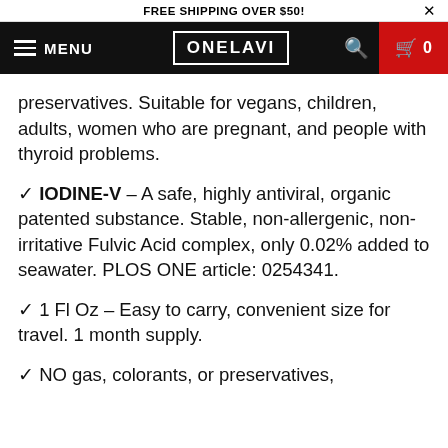FREE SHIPPING OVER $50!
[Figure (screenshot): ONELAVI website navigation bar with menu, logo, search and cart icons]
preservatives. Suitable for vegans, children, adults, women who are pregnant, and people with thyroid problems.
✓ IODINE-V – A safe, highly antiviral, organic patented substance. Stable, non-allergenic, non-irritative Fulvic Acid complex, only 0.02% added to seawater. PLOS ONE article: 0254341.
✓ 1 Fl Oz – Easy to carry, convenient size for travel. 1 month supply.
✓ NO gas, colorants, or preservatives,